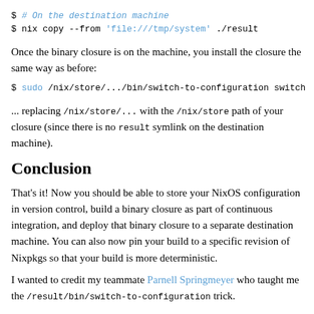$ # On the destination machine
$ nix copy --from 'file:///tmp/system' ./result
Once the binary closure is on the machine, you install the closure the same way as before:
$ sudo /nix/store/.../bin/switch-to-configuration switch
... replacing /nix/store/... with the /nix/store path of your closure (since there is no result symlink on the destination machine).
Conclusion
That's it! Now you should be able to store your NixOS configuration in version control, build a binary closure as part of continuous integration, and deploy that binary closure to a separate destination machine. You can also now pin your build to a specific revision of Nixpkgs so that your build is more deterministic.
I wanted to credit my teammate Parnell Springmeyer who taught me the /result/bin/switch-to-configuration trick.